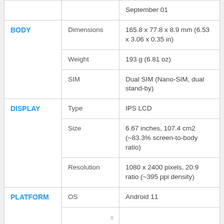| Category | Property | Value |
| --- | --- | --- |
|  |  | September 01 |
| BODY | Dimensions | 165.8 x 77.8 x 8.9 mm (6.53 x 3.06 x 0.35 in) |
|  | Weight | 193 g (6.81 oz) |
|  | SIM | Dual SIM (Nano-SIM, dual stand-by) |
| DISPLAY | Type | IPS LCD |
|  | Size | 6.67 inches, 107.4 cm2 (~83.3% screen-to-body ratio) |
|  | Resolution | 1080 x 2400 pixels, 20:9 ratio (~395 ppi density) |
| PLATFORM | OS | Android 11 |
|  |  |  |